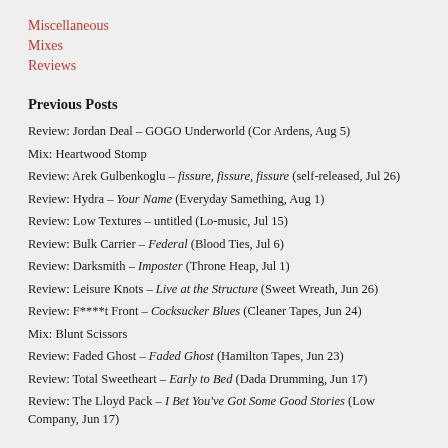Miscellaneous
Mixes
Reviews
Previous Posts
Review: Jordan Deal – GOGO Underworld (Cor Ardens, Aug 5)
Mix: Heartwood Stomp
Review: Arek Gulbenkoglu – fissure, fissure, fissure (self-released, Jul 26)
Review: Hydra – Your Name (Everyday Samething, Aug 1)
Review: Low Textures – untitled (Lo-music, Jul 15)
Review: Bulk Carrier – Federal (Blood Ties, Jul 6)
Review: Darksmith – Imposter (Throne Heap, Jul 1)
Review: Leisure Knots – Live at the Structure (Sweet Wreath, Jun 26)
Review: F****t Front – Cocksucker Blues (Cleaner Tapes, Jun 24)
Mix: Blunt Scissors
Review: Faded Ghost – Faded Ghost (Hamilton Tapes, Jun 23)
Review: Total Sweetheart – Early to Bed (Dada Drumming, Jun 17)
Review: The Lloyd Pack – I Bet You've Got Some Good Stories (Low Company, Jun 17)